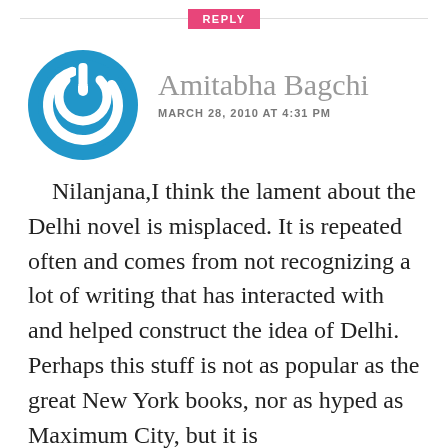REPLY
Amitabha Bagchi
MARCH 28, 2010 AT 4:31 PM
Nilanjana,I think the lament about the Delhi novel is misplaced. It is repeated often and comes from not recognizing a lot of writing that has interacted with and helped construct the idea of Delhi. Perhaps this stuff is not as popular as the great New York books, nor as hyped as Maximum City, but it is